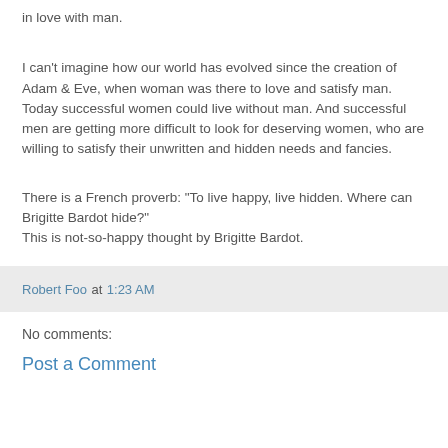in love with man.
I can't imagine how our world has evolved since the creation of Adam & Eve, when woman was there to love and satisfy man. Today successful women could live without man. And successful men are getting more difficult to look for deserving women, who are willing to satisfy their unwritten and hidden needs and fancies.
There is a French proverb: "To live happy, live hidden. Where can Brigitte Bardot hide?"
This is not-so-happy thought by Brigitte Bardot.
Robert Foo at 1:23 AM
No comments:
Post a Comment